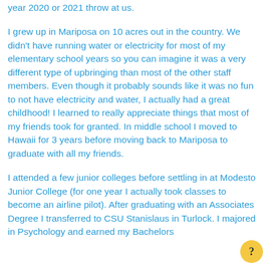year 2020 or 2021 throw at us.
I grew up in Mariposa on 10 acres out in the country. We didn't have running water or electricity for most of my elementary school years so you can imagine it was a very different type of upbringing than most of the other staff members. Even though it probably sounds like it was no fun to not have electricity and water, I actually had a great childhood! I learned to really appreciate things that most of my friends took for granted. In middle school I moved to Hawaii for 3 years before moving back to Mariposa to graduate with all my friends.
I attended a few junior colleges before settling in at Modesto Junior College (for one year I actually took classes to become an airline pilot). After graduating with an Associates Degree I transferred to CSU Stanislaus in Turlock. I majored in Psychology and earned my Bachelors